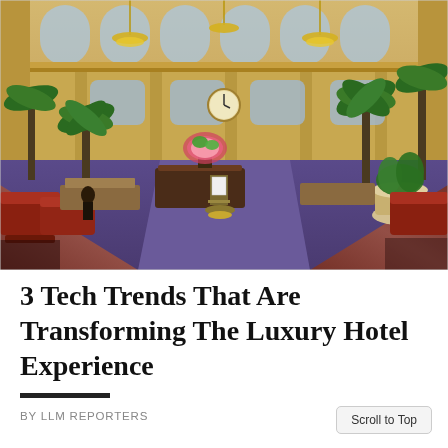[Figure (photo): Interior of a grand luxury hotel lobby with ornate golden architecture, high arched windows, chandeliers, tall palm trees, patterned carpet, red armchairs, dark wood reception desk, floral arrangement centerpiece, and a podium with a clock in the background.]
3 Tech Trends That Are Transforming The Luxury Hotel Experience
BY LLM REPORTERS